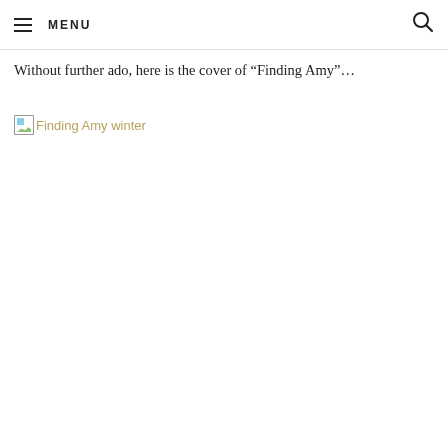MENU
Without further ado, here is the cover of “Finding Amy”…
[Figure (photo): Broken image placeholder with alt text 'Finding Amy winter']